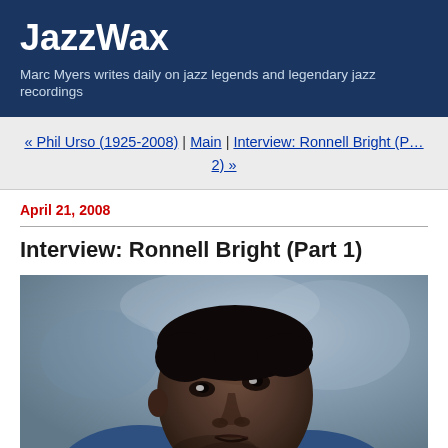JazzWax
Marc Myers writes daily on jazz legends and legendary jazz recordings
« Phil Urso (1925-2008) | Main | Interview: Ronnell Bright (Part 2) »
April 21, 2008
Interview: Ronnell Bright (Part 1)
[Figure (photo): Portrait photo of Ronnell Bright, a jazz musician, photographed against a muted blue-grey background, looking upward to the right. He is wearing a blue top.]